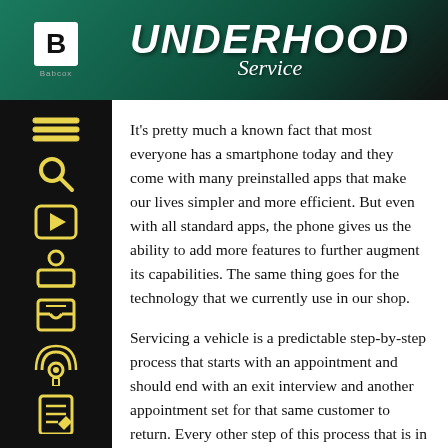UNDERHOOD Service
[Figure (logo): Babcox 'B' logo in white square on black background, with 'Babcox' text below]
It’s pretty much a known fact that most everyone has a smartphone today and they come with many preinstalled apps that make our lives simpler and more efficient. But even with all standard apps, the phone gives us the ability to add more features to further augment its capabilities. The same thing goes for the technology that we currently use in our shop.
Servicing a vehicle is a predictable step-by-step process that starts with an appointment and should end with an exit interview and another appointment set for that same customer to return. Every other step of this process that is in between affects the actual flow of vehicles through the